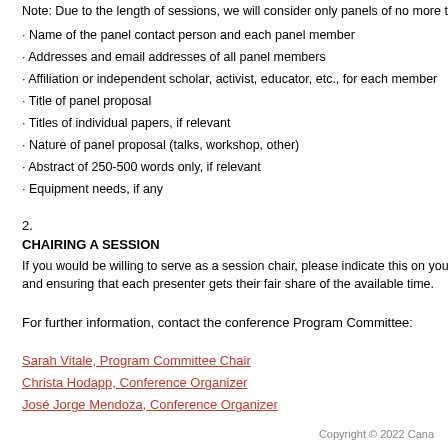Note: Due to the length of sessions, we will consider only panels of no more tha
· Name of the panel contact person and each panel member
· Addresses and email addresses of all panel members
· Affiliation or independent scholar, activist, educator, etc., for each member
· Title of panel proposal
· Titles of individual papers, if relevant
· Nature of panel proposal (talks, workshop, other)
· Abstract of 250-500 words only, if relevant
· Equipment needs, if any
2.
CHAIRING A SESSION
If you would be willing to serve as a session chair, please indicate this on your s and ensuring that each presenter gets their fair share of the available time.
For further information, contact the conference Program Committee:
Sarah Vitale, Program Committee Chair
Christa Hodapp, Conference Organizer
José Jorge Mendoza, Conference Organizer
Copyright © 2022 Cana